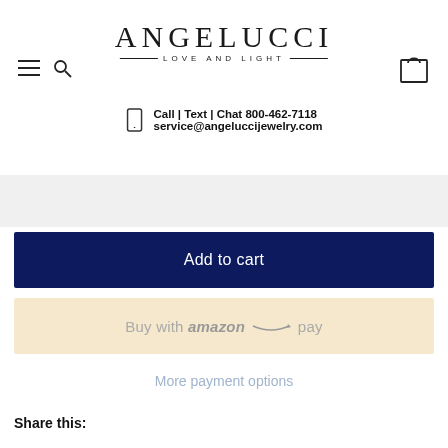ANGELUCCI LOVE AND LIGHT
Call | Text | Chat 800-462-7118
service@angeluccijewelry.com
Add to cart
Buy with amazon pay
More payment options
Share this: